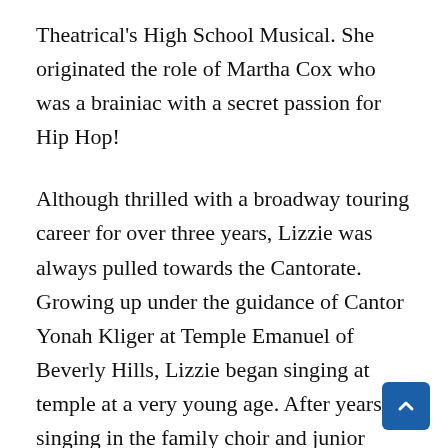Theatrical's High School Musical. She originated the role of Martha Cox who was a brainiac with a secret passion for Hip Hop!
Although thrilled with a broadway touring career for over three years, Lizzie was always pulled towards the Cantorate. Growing up under the guidance of Cantor Yonah Kliger at Temple Emanuel of Beverly Hills, Lizzie began singing at temple at a very young age. After years of singing in the family choir and junior cantors, Lizzie was the youngest singer to be hired as a professional singer for the renowned Temple Emanuel High Holy Day octet. Just a few years later, Lizzie was again empowerd with the great responsibility of being Sole Cantor for the New Emanuel Minyan High